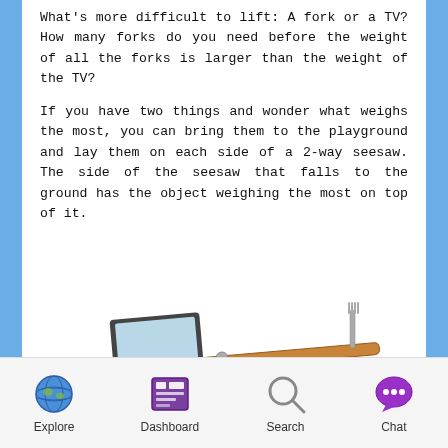What's more difficult to lift: A fork or a TV? How many forks do you need before the weight of all the forks is larger than the weight of the TV?
If you have two things and wonder what weighs the most, you can bring them to the playground and lay them on each side of a 2-way seesaw. The side of the seesaw that falls to the ground has the object weighing the most on top of it.
[Figure (illustration): A seesaw illustration with a TV/monitor on the left side (down) and a fork on the right side (up), with a green oval ground beneath.]
Explore  Dashboard  Search  Chat